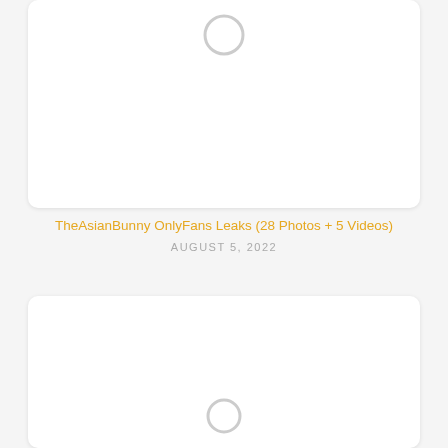[Figure (other): White card with loading spinner ring at top, partially cropped at top of page]
TheAsianBunny OnlyFans Leaks (28 Photos + 5 Videos)
AUGUST 5, 2022
[Figure (other): White card with loading spinner ring visible at bottom, partially cropped]